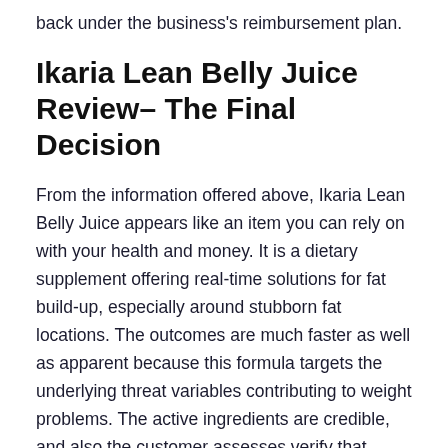back under the business's reimbursement plan.
Ikaria Lean Belly Juice Review– The Final Decision
From the information offered above, Ikaria Lean Belly Juice appears like an item you can rely on with your health and money. It is a dietary supplement offering real-time solutions for fat build-up, especially around stubborn fat locations. The outcomes are much faster as well as apparent because this formula targets the underlying threat variables contributing to weight problems. The active ingredients are credible, and also the customer assesses verify that whatever the company says concerning this formula holds true…